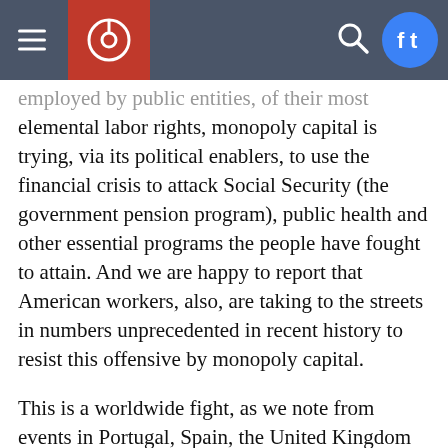[Navigation bar with hamburger menu, logo, search icon, and social icons]
employed by public entities, of their most elemental labor rights, monopoly capital is trying, via its political enablers, to use the financial crisis to attack Social Security (the government pension program), public health and other essential programs the people have fought to attain. And we are happy to report that American workers, also, are taking to the streets in numbers unprecedented in recent history to resist this offensive by monopoly capital.
This is a worldwide fight, as we note from events in Portugal, Spain, the United Kingdom and many other countries. The enemy is the same, and the fight is the same. Victory can be won by building greater and greater working class unity in struggle, all over the world. Your fight in